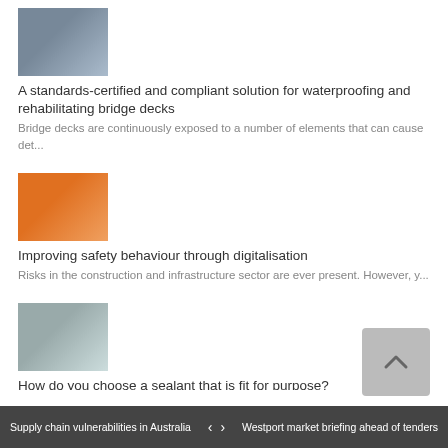[Figure (photo): Bridge deck or infrastructure waterproofing photo]
A standards-certified and compliant solution for waterproofing and rehabilitating bridge decks
Bridge decks are continuously exposed to a number of elements that can cause det...
[Figure (photo): Worker in orange high-vis using digital device on construction site]
Improving safety behaviour through digitalisation
Risks in the construction and infrastructure sector are ever present. However, y...
[Figure (photo): Sealant application on surface]
How do you choose a sealant that is fit for purpose?
When choosing a sealant that is fit for purpose, achieving the right movement ca...
[Figure (photo): Marine equipment or machinery with lubricants]
Speciality lubricants and grease for marine use: sustainable, non-toxic, biodegradable
Meeting environmental responsibilities is a crucial element of responsible tra...
Supply chain vulnerabilities in Australia  <  >  Westport market briefing ahead of tenders